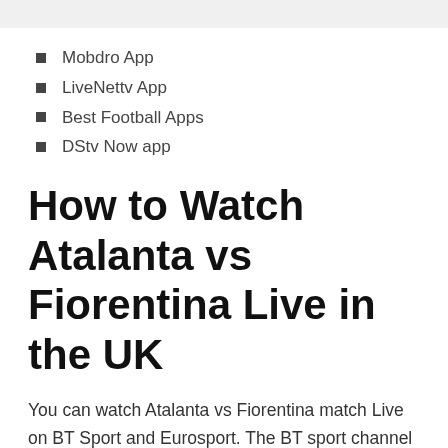Mobdro App
LiveNettv App
Best Football Apps
DStv Now app
How to Watch Atalanta vs Fiorentina Live in the UK
You can watch Atalanta vs Fiorentina match Live on BT Sport and Eurosport. The BT sport channel can be seen on BT TV, Sky TV or TalkTalk TV. These cable networks have different subscription plans.
You can also watch Atalanta vs Fio...